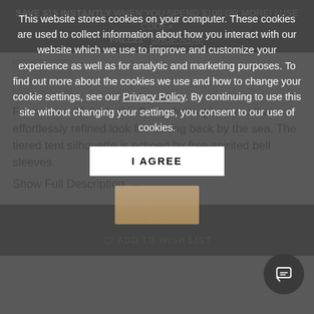SAVE $15 INSTANTLY WHEN YOU SPEND $100 OR MORE! | USE CODE× FALL22  SHOP ASAP
[Figure (photo): Small product thumbnail image placeholder]
From dawn 'til dusk, this floaty dress gives you that effortlessly refined look for kicking back by the sea. The tiered tent silhouette is echoed by free-spirited bell sleeves.
Show Full Description ∨
ADD TO BAG
♡ ADD TO WISH LIST
This website stores cookies on your computer. These cookies are used to collect information about how you interact with our website which we use to improve and customize your experience as well as for analytic and marketing purposes. To find out more about the cookies we use and how to change your cookie settings, see our Privacy Policy. By continuing to use this site without changing your settings, you consent to our use of cookies.
I AGREE